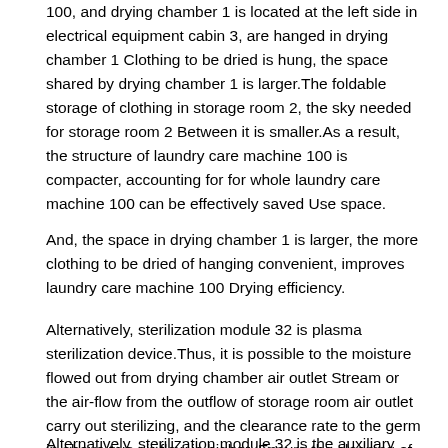100, and drying chamber 1 is located at the left side in electrical equipment cabin 3, are hanged in drying chamber 1 Clothing to be dried is hung, the space shared by drying chamber 1 is larger.The foldable storage of clothing in storage room 2, the sky needed for storage room 2 Between it is smaller.As a result, the structure of laundry care machine 100 is compacter, accounting for for whole laundry care machine 100 can be effectively saved Use space.
And, the space in drying chamber 1 is larger, the more clothing to be dried of hanging convenient, improves laundry care machine 100 Drying efficiency.
Alternatively, sterilization module 32 is plasma sterilization device.Thus, it is possible to the moisture flowed out from drying chamber air outlet Stream or the air-flow from the outflow of storage room air outlet carry out sterilizing, and the clearance rate to the germ in above two air-flow is higher, Ensure the cleaning of clothing to be dried and storage clothing.
Alternatively, sterilization module 32 is the auxiliary silver-colored sterilization device of light.Thus, it is possible to